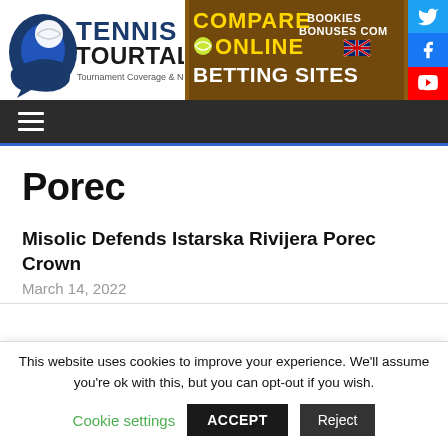[Figure (logo): Tennis Tourtalk logo with tennis ball and racket graphic, text 'TENNIS TOURTALK Tournament Coverage & News']
[Figure (infographic): Advertisement banner: 'COMPARE ONLINE BETTING SITES BOOKIES BONUSES COM' with UK flag icon, dark orange/brown background]
[Figure (infographic): Social media icons column: Twitter (blue), Facebook (blue), YouTube (red)]
Porec
Misolic Defends Istarska Rivijera Porec Crown
March 14, 2022
This website uses cookies to improve your experience. We'll assume you're ok with this, but you can opt-out if you wish.